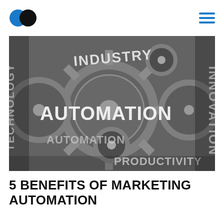[Logo] [Hamburger menu]
[Figure (photo): Close-up photo of interlocking metal gears with words embossed on them: INDUSTRY, AUTOMATION, TECHNOLOGY, INNOVATION, PRODUCTIVITY]
5 BENEFITS OF MARKETING AUTOMATION